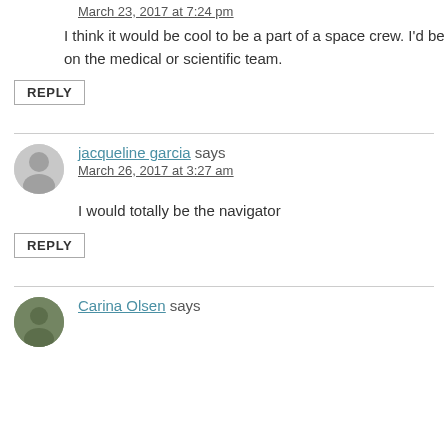March 23, 2017 at 7:24 pm
I think it would be cool to be a part of a space crew. I'd be on the medical or scientific team.
REPLY
jacqueline garcia says
March 26, 2017 at 3:27 am
I would totally be the navigator
REPLY
Carina Olsen says